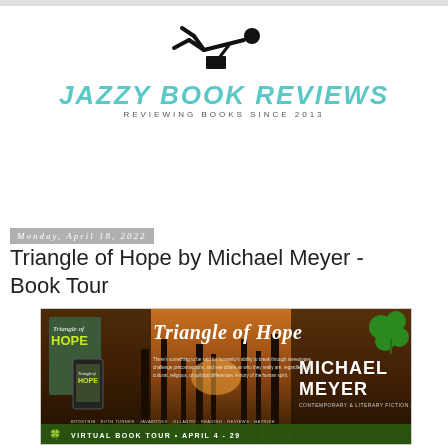[Figure (logo): Jazzy Book Reviews logo with stick figure reading and teal text 'JAZZY BOOK REVIEWS' and subtitle 'REVIEWING BOOKS SINCE 2013']
Monday, April 18, 2022
Triangle of Hope by Michael Meyer - Book Tour
[Figure (illustration): Book tour promotional banner for Triangle of Hope by Michael Meyer showing book covers, a sunset forest scene, and green shamrock. Text reads: Triangle of Hope, MICHAEL MEYER, CONTEMPORARY & LITERARY FICTION AUTHOR, VIRTUAL BOOK TOUR • APRIL 4 - 29]